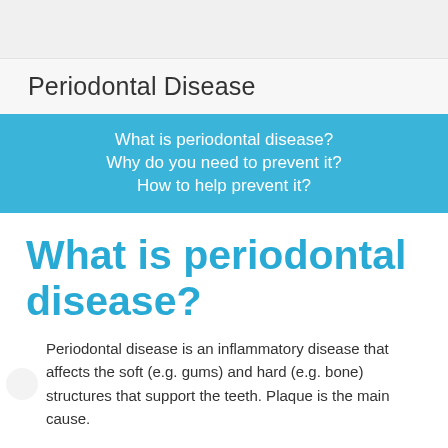Periodontal Disease
What is periodontal disease?
Why do you need to prevent it?
How to help prevent it?
What is periodontal disease?
Periodontal disease is an inflammatory disease that affects the soft (e.g. gums) and hard (e.g. bone) structures that support the teeth. Plaque is the main cause.